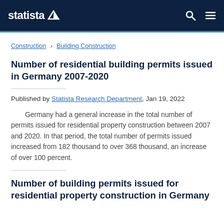statista
Construction › Building Construction
Number of residential building permits issued in Germany 2007-2020
Published by Statista Research Department, Jan 19, 2022
Germany had a general increase in the total number of permits issued for residential property construction between 2007 and 2020. In that period, the total number of permits issued increased from 182 thousand to over 368 thousand, an increase of over 100 percent.
Number of building permits issued for residential property construction in Germany